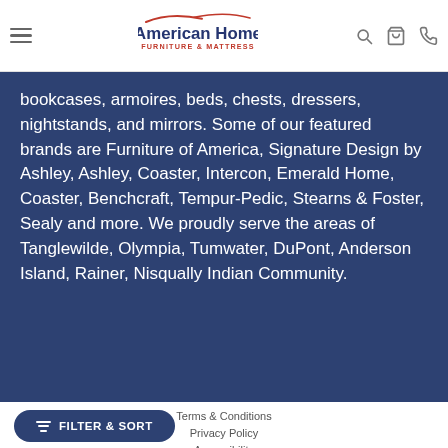American Home Furniture & Mattress
bookcases, armoires, beds, chests, dressers, nightstands, and mirrors. Some of our featured brands are Furniture of America, Signature Design by Ashley, Ashley, Coaster, Intercon, Emerald Home, Coaster, Benchcraft, Tempur-Pedic, Stearns & Foster, Sealy and more. We proudly serve the areas of Tanglewilde, Olympia, Tumwater, DuPont, Anderson Island, Rainer, Nisqually Indian Community.
Terms & Conditions  Privacy Policy  Accessibility